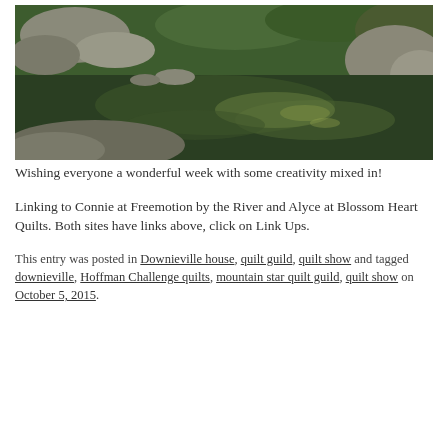[Figure (photo): Photograph of a river scene with calm water reflecting green vegetation and rocky banks with shrubs and trees in the background]
Wishing everyone a wonderful week with some creativity mixed in!
Linking to Connie at Freemotion by the River and Alyce at Blossom Heart Quilts. Both sites have links above, click on Link Ups.
This entry was posted in Downieville house, quilt guild, quilt show and tagged downieville, Hoffman Challenge quilts, mountain star quilt guild, quilt show on October 5, 2015.